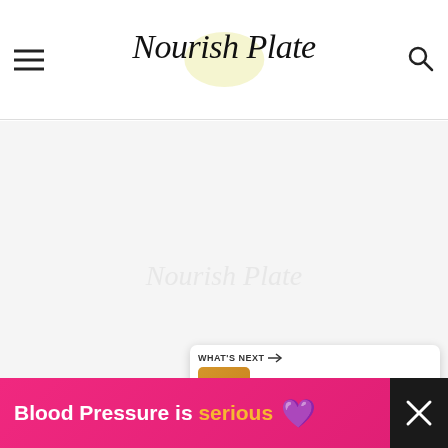Nourish Plate
[Figure (photo): Large food image area (mostly blank/light gray placeholder). Heart/like button (teal circle with heart icon) showing 92 likes. Share button below. 'What's Next' card with thumbnail of grilled cheese sandwich and text 'Easy Air Fryer Grilled Chee...']
[Figure (infographic): Advertisement banner: 'Blood Pressure is serious' with purple heart emoji on pink/magenta background. Close (X) button on dark background to the right.]